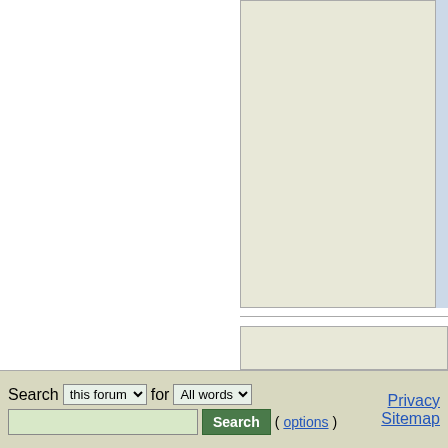[Figure (screenshot): Partial view of a web forum page showing green-tinted content panels on the right side and a blue scrollbar area. The main left area is white/blank. Three horizontal content blocks with olive/khaki background color are visible on the right.]
Search this forum ▾ for All words ▾ [search input] Search (options)   Privacy Sitemap